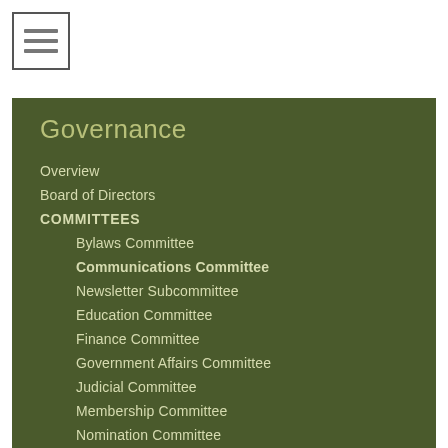[Figure (other): Hamburger menu icon — three horizontal lines inside a square border]
Governance
Overview
Board of Directors
COMMITTEES
Bylaws Committee
Communications Committee
Newsletter Subcommittee
Education Committee
Finance Committee
Government Affairs Committee
Judicial Committee
Membership Committee
Nomination Committee